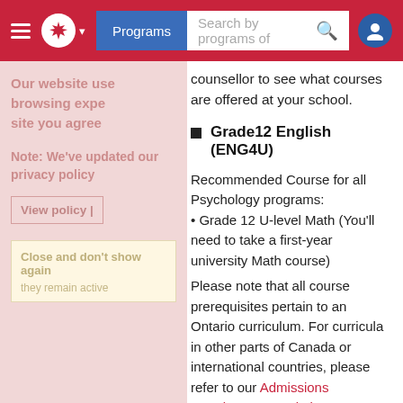Programs | Search by programs of
counsellor to see what courses are offered at your school.
Grade12 English (ENG4U)
Recommended Course for all Psychology programs:
• Grade 12 U-level Math (You'll need to take a first-year university Math course)
Please note that all course prerequisites pertain to an Ontario curriculum. For curricula in other parts of Canada or international countries, please refer to our Admissions Requirements website.
Our website uses cookies to improve your browsing experience. By continuing to use this site you agree to our use of cookies.
Note: We've updated our privacy policy
View policy | Close and don't show again